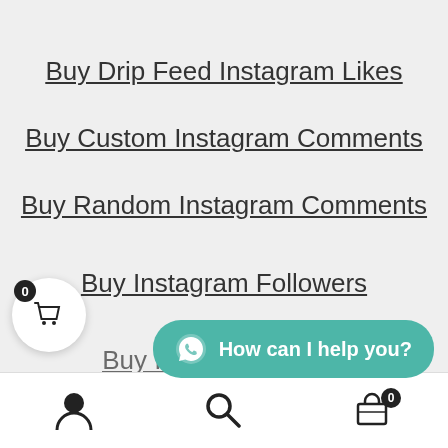Buy Drip Feed Instagram Likes
Buy Custom Instagram Comments
Buy Random Instagram Comments
Buy Instagram Followers
Buy Instagram Views
[Figure (screenshot): WhatsApp chat button with text 'How can I help you?' on teal background]
[Figure (screenshot): Bottom navigation bar with user icon, search icon, and shopping cart icon with badge showing 0]
[Figure (screenshot): Floating shopping cart button with 0 badge on white circle]